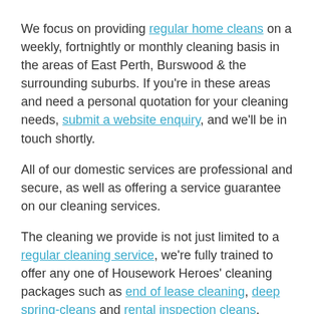We focus on providing regular home cleans on a weekly, fortnightly or monthly cleaning basis in the areas of East Perth, Burswood & the surrounding suburbs. If you're in these areas and need a personal quotation for your cleaning needs, submit a website enquiry, and we'll be in touch shortly.
All of our domestic services are professional and secure, as well as offering a service guarantee on our cleaning services.
The cleaning we provide is not just limited to a regular cleaning service, we're fully trained to offer any one of Housework Heroes' cleaning packages such as end of lease cleaning, deep spring-cleans and rental inspection cleans.